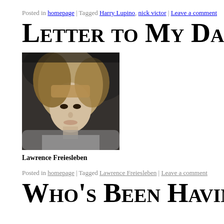Posted in homepage | Tagged Harry Lupino, nick victor | Leave a comment
Letter to My Daug…
[Figure (photo): Black and white photograph of a young girl with long blonde hair, looking downward, outdoors with trees/foliage in background]
Lawrence Freiesleben
Posted in homepage | Tagged Lawrence Freiesleben | Leave a comment
Who's Been Having…